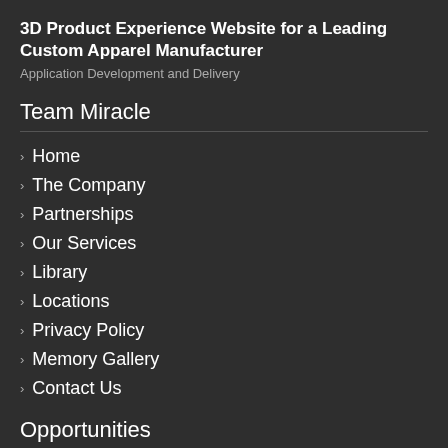3D Product Experience Website for a Leading Custom Apparel Manufacturer
Application Development and Delivery
Team Miracle
Home
The Company
Partnerships
Our Services
Library
Locations
Privacy Policy
Memory Gallery
Contact Us
Opportunities
Refresh Annex...